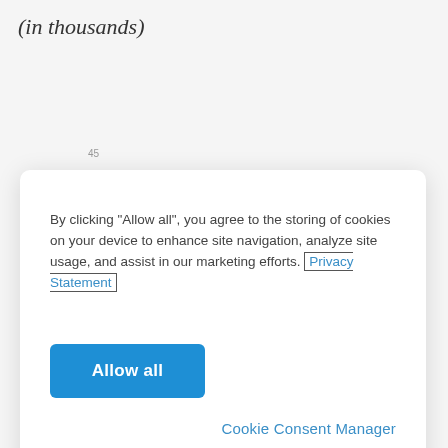(in thousands)
[Figure (screenshot): Cookie consent modal dialog overlay on a webpage showing a financial chart. The modal contains text about cookie usage and privacy, an 'Allow all' button, and a 'Cookie Consent Manager' link.]